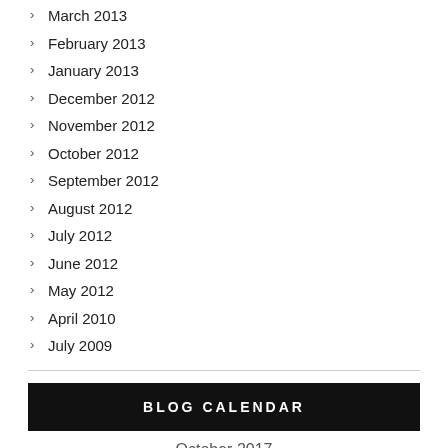March 2013
February 2013
January 2013
December 2012
November 2012
October 2012
September 2012
August 2012
July 2012
June 2012
May 2012
April 2010
July 2009
BLOG CALENDAR
October 2017
| M | T | W | T | F | S | S |
| --- | --- | --- | --- | --- | --- | --- |